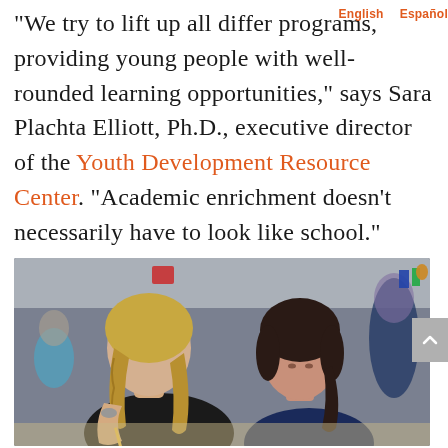“We try to lift up all differ… programs, providing young people with well-rounded learning opportunities,” says Sara Plachta Elliott, Ph.D., executive director of the Youth Development Resource Center. “Academic enrichment doesn’t necessarily have to look like school.”
[Figure (photo): A young woman with blonde braided hair and a tattoo on her arm helps a young girl with dark braided hair write something on paper. Both are leaning over a table in what appears to be a classroom setting.]